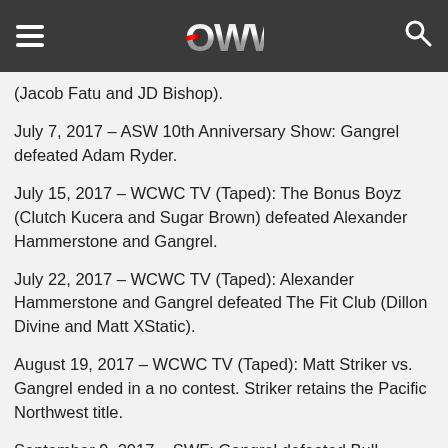OWW (Online World of Wrestling)
(Jacob Fatu and JD Bishop).
July 7, 2017 – ASW 10th Anniversary Show: Gangrel defeated Adam Ryder.
July 15, 2017 – WCWC TV (Taped): The Bonus Boyz (Clutch Kucera and Sugar Brown) defeated Alexander Hammerstone and Gangrel.
July 22, 2017 – WCWC TV (Taped): Alexander Hammerstone and Gangrel defeated The Fit Club (Dillon Divine and Matt XStatic).
August 19, 2017 – WCWC TV (Taped): Matt Striker vs. Gangrel ended in a no contest. Striker retains the Pacific Northwest title.
September 9, 2017 – SWF: Gangrel defeated Bull James.
September 16, 2017 – WCWC TV (Taped): Fight And Flight (Damien Drake and Mikey O'Shea) defeated